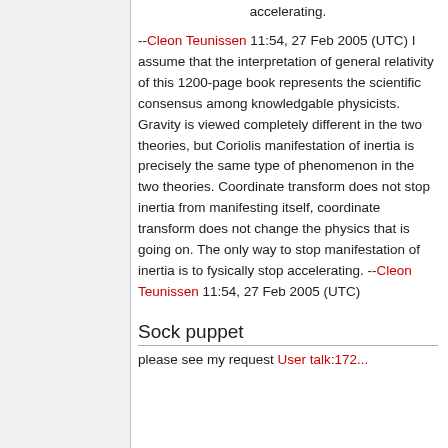accelerating.
--Cleon Teunissen 11:54, 27 Feb 2005 (UTC) I assume that the interpretation of general relativity of this 1200-page book represents the scientific consensus among knowledgable physicists. Gravity is viewed completely different in the two theories, but Coriolis manifestation of inertia is precisely the same type of phenomenon in the two theories. Coordinate transform does not stop inertia from manifesting itself, coordinate transform does not change the physics that is going on. The only way to stop manifestation of inertia is to fysically stop accelerating. --Cleon Teunissen 11:54, 27 Feb 2005 (UTC)
Sock puppet
please see my request User talk:172...